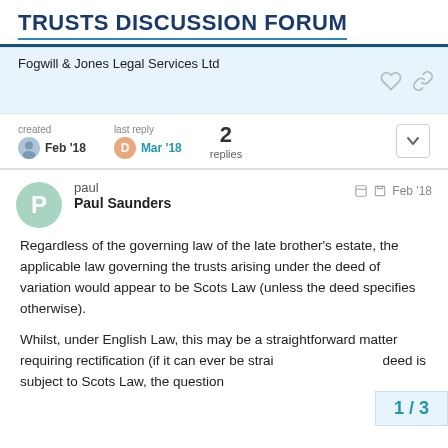TRUSTS DISCUSSION FORUM
Fogwill & Jones Legal Services Ltd
created Feb '18   last reply Mar '18   2 replies
paul
Paul Saunders
Feb '18
Regardless of the governing law of the late brother's estate, the applicable law governing the trusts arising under the deed of variation would appear to be Scots Law (unless the deed specifies otherwise).
Whilst, under English Law, this may be a straightforward matter requiring rectification (if it can ever be straightforward), if the deed is subject to Scots Law, the question
1 / 3